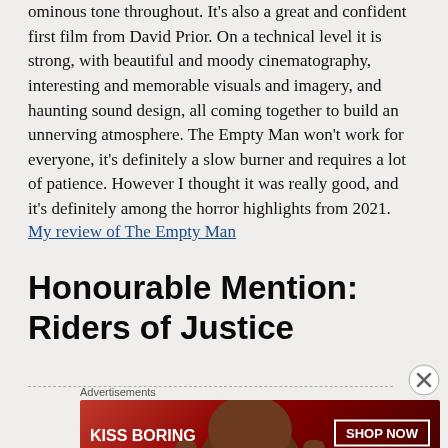ominous tone throughout. It's also a great and confident first film from David Prior. On a technical level it is strong, with beautiful and moody cinematography, interesting and memorable visuals and imagery, and haunting sound design, all coming together to build an unnerving atmosphere. The Empty Man won't work for everyone, it's definitely a slow burner and requires a lot of patience. However I thought it was really good, and it's definitely among the horror highlights from 2021.
My review of The Empty Man
Honourable Mention: Riders of Justice
Advertisements
[Figure (other): Macy's advertisement banner: 'KISS BORING LIPS GOODBYE' with a woman's face showing red lips, and a 'SHOP NOW' button with the Macy's star logo.]